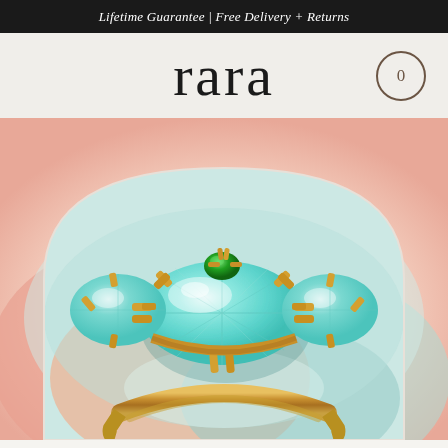Lifetime Guarantee | Free Delivery + Returns
rara
[Figure (photo): Close-up photo of a gold ring with large aqua/turquoise faceted gemstones and a small emerald-green stone on top, reflected on a colorful pastel surface with pink, orange, and teal tones. The ring is displayed inside an arch-shaped frame.]